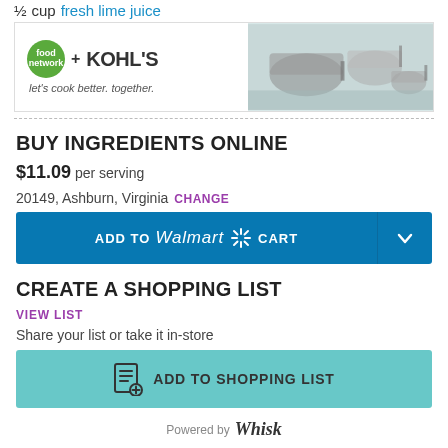½ cup fresh lime juice
[Figure (other): Food Network + Kohl's advertisement banner: 'let's cook better. together.' with cookware image on right]
BUY INGREDIENTS ONLINE
$11.09 per serving
20149, Ashburn, Virginia  CHANGE
[Figure (other): ADD TO Walmart CART button (blue) with dropdown arrow]
CREATE A SHOPPING LIST
VIEW LIST
Share your list or take it in-store
[Figure (other): ADD TO SHOPPING LIST button (teal/mint color) with list icon]
Powered by Whisk